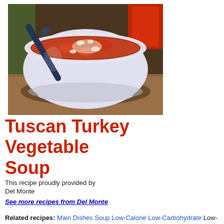[Figure (photo): A white bowl filled with Tuscan Turkey Vegetable Soup — a rich tomato-based broth with chunks of vegetables, beans, and turkey, topped with grated cheese. A dark spoon rests in the bowl. Background shows green and red objects on a wooden surface.]
Tuscan Turkey Vegetable Soup
This recipe proudly provided by
Del Monte
See more recipes from Del Monte
Related recipes: Main Dishes   Soup   Low-Calorie   Low-Carbohydrate   Low-